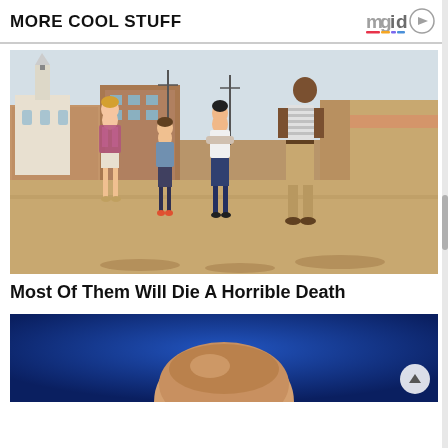MORE COOL STUFF
[Figure (logo): mgid logo with play button]
[Figure (photo): Four people standing in an empty town street. A woman in shorts and floral jacket, a teenager in denim jacket, a woman with arms crossed in white top and jeans, and a tall man in striped polo and khaki pants looking up. Old brick buildings and a church steeple in the background.]
Most Of Them Will Die A Horrible Death
[Figure (photo): Close-up of a bald man's head from above against a blue background, partially visible at the bottom of the page.]